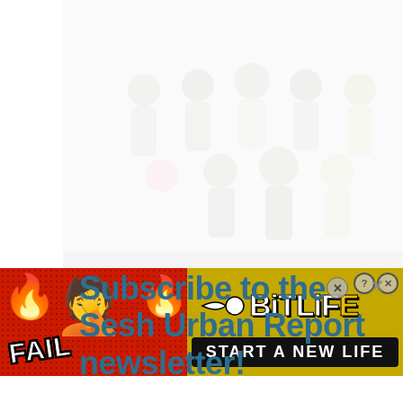[Figure (photo): Faded group photo of approximately 12 people posing together outdoors, with a red sports car visible in the lower portion of the image. The image is heavily washed out / faded.]
Subscribe to the Sesh Urban Report newsletter!
[Figure (infographic): BitLife mobile game advertisement banner. Red background with red dots pattern. Left side shows 'FAIL' text, flame emojis, and a facepalm person emoji. Right side shows yellow/gold background with BitLife logo (sperm icon + BITLIFE text) and 'START A NEW LIFE' black button. Close X and help ? icons in top right corner.]